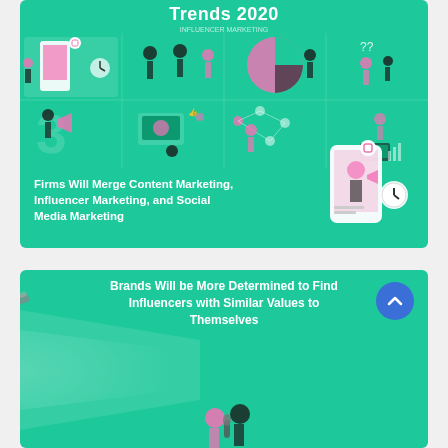[Figure (infographic): Top card: Influencer Marketing Trends 2020 infographic on teal/green background. Shows illustration grid of various people representing social media, influencer, and content marketing scenarios. Bottom section reads 'Firms Will Merge Content Marketing, Influencer Marketing, and Social Media Marketing' with phone/Instagram illustration on right.]
Trends 2020
Firms Will Merge Content Marketing, Influencer Marketing, and Social Media Marketing
[Figure (infographic): Bottom card: Teal/green background with spotlight effect. Text reads 'Brands Will be More Determined to Find Influencers with Similar Values to Themselves'. Blue circle with chevron/arrow on right. Two illustrated figures at bottom center.]
Brands Will be More Determined to Find Influencers with Similar Values to Themselves